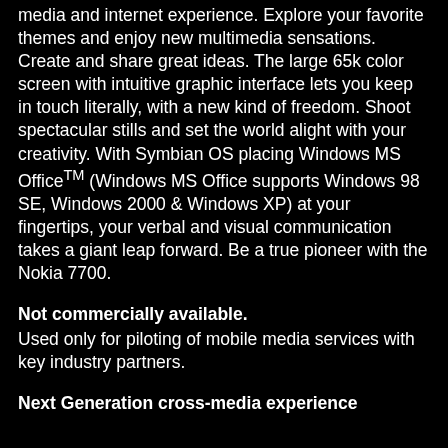media and internet experience. Explore your favorite themes and enjoy new multimedia sensations. Create and share great ideas. The large 65k color screen with intuitive graphic interface lets you keep in touch literally, with a new kind of freedom. Shoot spectacular stills and set the world alight with your creativity. With Symbian OS placing Windows MS Office™ (Windows MS Office supports Windows 98 SE, Windows 2000 & Windows XP) at your fingertips, your verbal and visual communication takes a giant leap forward. Be a true pioneer with the Nokia 7700.
Not commercially available. Used only for piloting of mobile media services with key industry partners.
Next Generation cross-media experience